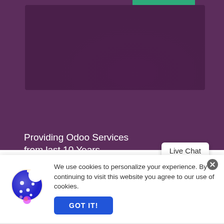[Figure (screenshot): Odoo Ready Partner banner in teal/green color at top right of the purple background section]
We are proud
Odoo Partner
Providing Odoo Services from last 10 Years
Live Chat
We use cookies to personalize your experience. By continuing to visit this website you agree to our use of cookies.
GOT IT!